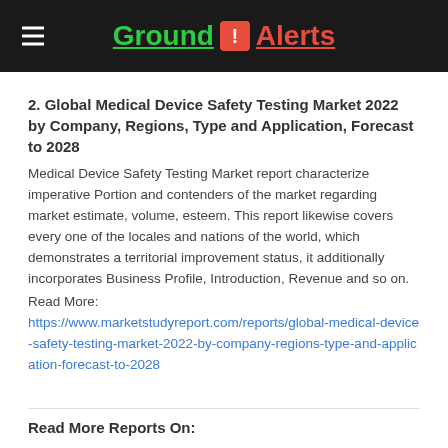Ground ! Alerts
2. Global Medical Device Safety Testing Market 2022 by Company, Regions, Type and Application, Forecast to 2028
Medical Device Safety Testing Market report characterize imperative Portion and contenders of the market regarding market estimate, volume, esteem. This report likewise covers every one of the locales and nations of the world, which demonstrates a territorial improvement status, it additionally incorporates Business Profile, Introduction, Revenue and so on.
Read More:
https://www.marketstudyreport.com/reports/global-medical-device-safety-testing-market-2022-by-company-regions-type-and-application-forecast-to-2028
Read More Reports On: